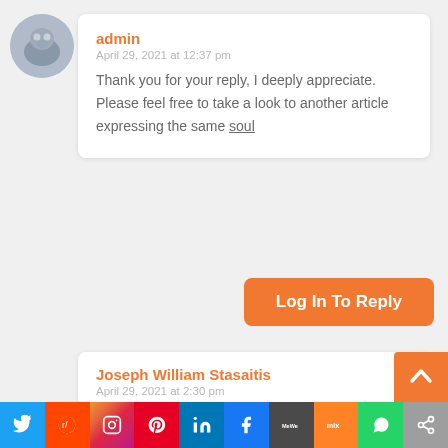[Figure (photo): Circular avatar photo of a cat or small animal, gray/white tones]
admin
April 29, 2021 at 12:37 pm
Thank you for your reply, I deeply appreciate. Please feel free to take a look to another article expressing the same soul
Log In To Reply
Joseph William Stasaitis
April 29, 2021 at 2:30 pm
Thanks, Angel for this information. Our kitty is certainly
[Figure (infographic): Social media sharing bar at bottom with icons for Twitter, Reddit, Instagram, Pinterest, LinkedIn, Facebook, MeWe, Mix, WhatsApp, Share]